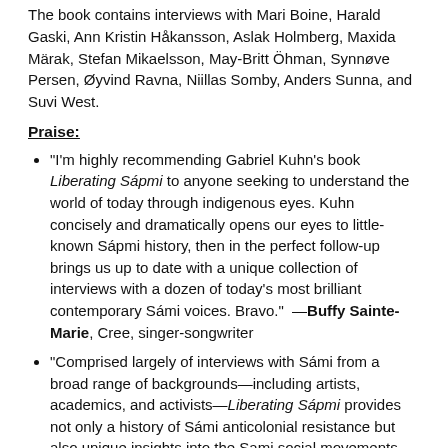The book contains interviews with Mari Boine, Harald Gaski, Ann Kristin Håkansson, Aslak Holmberg, Maxida Märak, Stefan Mikaelsson, May-Britt Öhman, Synnøve Persen, Øyvind Ravna, Niillas Somby, Anders Sunna, and Suvi West.
Praise:
"I'm highly recommending Gabriel Kuhn's book Liberating Sápmi to anyone seeking to understand the world of today through indigenous eyes. Kuhn concisely and dramatically opens our eyes to little-known Sápmi history, then in the perfect follow-up brings us up to date with a unique collection of interviews with a dozen of today's most brilliant contemporary Sámi voices. Bravo." —Buffy Sainte-Marie, Cree, singer-songwriter
"Comprised largely of interviews with Sámi from a broad range of backgrounds—including artists, academics, and activists—Liberating Sápmi provides not only a history of Sámi anticolonial resistance but also unique insights into the Sami social movements that have arisen. The book is well illustrated with maps, photographs, and Sámi art." —Gord Hill, Kwakwaka'wakw, author of 500 Years of Indigenous Resistance
"The long struggle of the Sámi to defend their lands and way